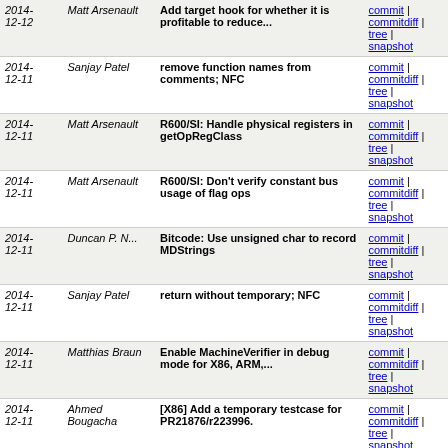| Date | Author | Message | Links |
| --- | --- | --- | --- |
| 2014-12-12 | Matt Arsenault | Add target hook for whether it is profitable to reduce... | commit | commitdiff | tree | snapshot |
| 2014-12-11 | Sanjay Patel | remove function names from comments; NFC | commit | commitdiff | tree | snapshot |
| 2014-12-11 | Matt Arsenault | R600/SI: Handle physical registers in getOpRegClass | commit | commitdiff | tree | snapshot |
| 2014-12-11 | Matt Arsenault | R600/SI: Don't verify constant bus usage of flag ops | commit | commitdiff | tree | snapshot |
| 2014-12-11 | Duncan P. N... | Bitcode: Use unsigned char to record MDStrings | commit | commitdiff | tree | snapshot |
| 2014-12-11 | Sanjay Patel | return without temporary; NFC | commit | commitdiff | tree | snapshot |
| 2014-12-11 | Matthias Braun | Enable MachineVerifier in debug mode for X86, ARM,... | commit | commitdiff | tree | snapshot |
| 2014-12-11 | Ahmed Bougacha | [X86] Add a temporary testcase for PR21876/r223996. | commit | commitdiff | tree | snapshot |
| 2014-12-11 | Duncan P. N... | Bitcode: Add METADATA_NODE and METADATA_VALUE | commit | commitdiff | tree | snapshot |
| 2014-12-11 | Hal Finkel | [PowerPC] Better lowering for add/or of a FrameIndex | commit | commitdiff | tree | snapshot |
| 2014- | Duncan P. N... | Bitcode: Add `OLD_` prefix to | commit |